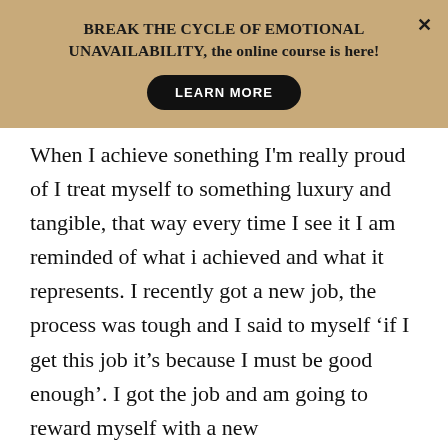BREAK THE CYCLE OF EMOTIONAL UNAVAILABILITY, the online course is here!
When I achieve sonething I'm really proud of I treat myself to something luxury and tangible, that way every time I see it I am reminded of what i achieved and what it represents. I recently got a new job, the process was tough and I said to myself 'if I get this job it's because I must be good enough'. I got the job and am going to reward myself with a new